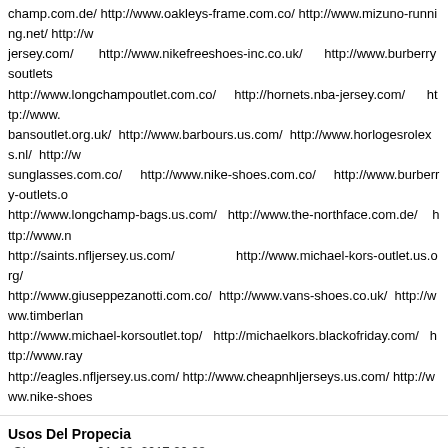champ.com.de/ http://www.oakleys-frame.com.co/ http://www.mizuno-running.net/ http://www.nfl-jersey.com/ http://www.nikefreeshoes-inc.co.uk/ http://www.burberrysoutletstore.org.uk/ http://www.longchampoutlet.com.co/ http://hornets.nba-jersey.com/ http://www.raybans-outlet.org.uk/ bansoutlet.org.uk/ http://www.barbours.us.com/ http://www.horlogesrolexs.nl/ http://www.ray-bansoutlets.us.com/ sunglasses.com.co/ http://www.nike-shoes.com.co/ http://www.burberry-outlets.org.uk/ http://www.longchamp-bags.us.com/ http://www.the-northface.com.de/ http://www.michaelkorsoutletonline.net.co/ http://saints.nfljersey.us.com/ http://www.michael-kors-outlet.us.org/ http://www.giuseppezanotti.com.co/ http://www.vans-shoes.co.uk/ http://www.timberland-boots.us.com/ http://www.michael-korsoutlet.top/ http://michaelkors.blackofriday.com/ http://www.ray-bansoutlet.net.co/ http://eagles.nfljersey.us.com/ http://www.cheapnhljerseys.us.com/ http://www.nike-shoes
Usos Del Propecia
Chasengave - 01. 08. 2017 20:38
Spelling Amoxicillin viagra Worldwide Shipped Ups Pyridium No Physician Approval Garl
Usos Del Propecia
Chasengave - 01. 08. 2017 20:38
Spelling Amoxicillin viagra Worldwide Shipped Ups Pyridium No Physician Approval Garl
Usos Del Propecia
Chasengave - 01. 08. 2017 20:38
Spelling Amoxicillin viagra Worldwide Shipped Ups Pyridium No Physician Approval Garl
Usos Del Propecia